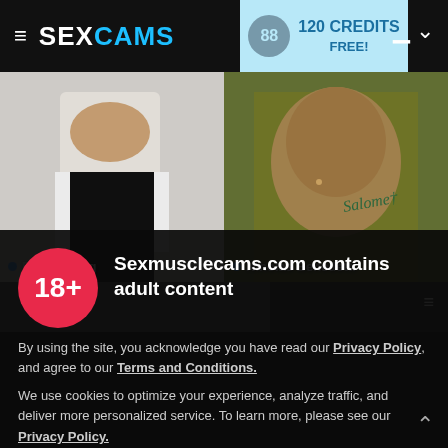≡ SEX CAMS | 120 CREDITS FREE!
[Figure (screenshot): Webcam thumbnail of Daniel Long - person in white shirt and black pants]
Daniel Long
[Figure (screenshot): Webcam thumbnail of Niholas Benedetti - person with tattoo reading Salome]
Niholas Benedetti
[Figure (screenshot): Partial webcam strip showing a third stream]
Sexmusclecams.com contains adult content
By using the site, you acknowledge you have read our Privacy Policy, and agree to our Terms and Conditions.
We use cookies to optimize your experience, analyze traffic, and deliver more personalized service. To learn more, please see our Privacy Policy.